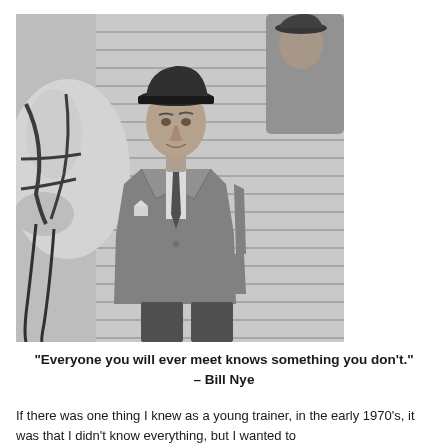[Figure (photo): Black and white photograph of a man wearing a dark fedora hat and a tweed suit with a pocket square, standing next to a white horse with bridle and reins visible. Background shows a white slatted wall. Another person is partially visible in the upper right.]
"Everyone you will ever meet knows something you don't." – Bill Nye
If there was one thing I knew as a young trainer, in the early 1970's, it was that I didn't know everything, but I wanted to